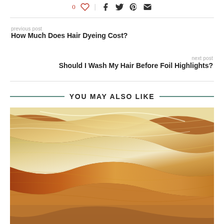0 | [social icons]
previous post
How Much Does Hair Dyeing Cost?
next post
Should I Wash My Hair Before Foil Highlights?
YOU MAY ALSO LIKE
[Figure (photo): Close-up of wavy hair strands in blonde, golden, and auburn tones]